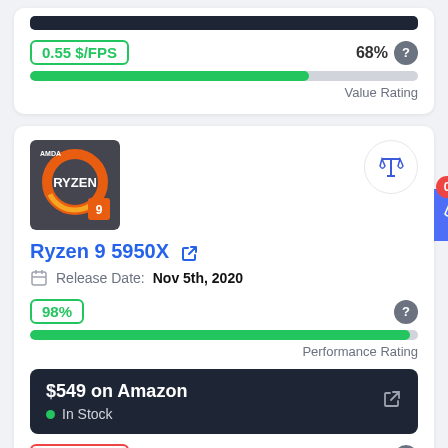0.55 $/FPS
68%
[Figure (infographic): Green progress bar at ~72% fill for Value Rating]
Value Rating
[Figure (photo): AMD Ryzen 9 processor box image]
Ryzen 9 5950X
Release Date: Nov 5th, 2020
98%
[Figure (infographic): Green progress bar at ~98% fill for Performance Rating]
Performance Rating
$549 on Amazon
In Stock
1.63 $/FPS
20%
[Figure (infographic): Red progress bar at ~20% fill for Value Rating]